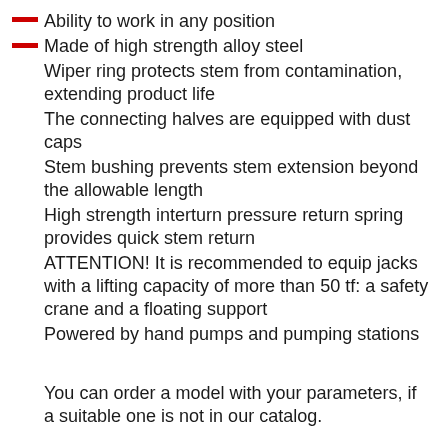Ability to work in any position
Made of high strength alloy steel
Wiper ring protects stem from contamination, extending product life
The connecting halves are equipped with dust caps
Stem bushing prevents stem extension beyond the allowable length
High strength interturn pressure return spring provides quick stem return
ATTENTION! It is recommended to equip jacks with a lifting capacity of more than 50 tf: a safety crane and a floating support
Powered by hand pumps and pumping stations
You can order a model with your parameters, if a suitable one is not in our catalog.